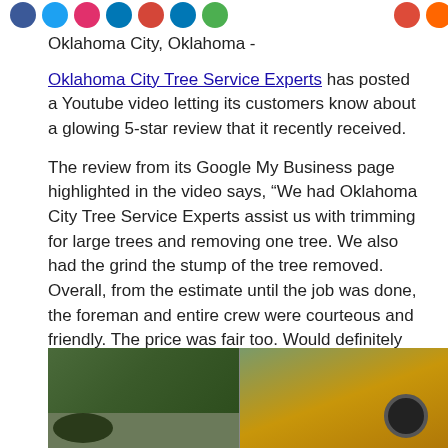[Figure (other): Social media sharing icons row: Facebook (blue), Twitter (light blue), Instagram (red/pink), LinkedIn (blue), email (red), LinkedIn (blue), green icon, and two more icons on the right (red, orange)]
Oklahoma City, Oklahoma -
Oklahoma City Tree Service Experts has posted a Youtube video letting its customers know about a glowing 5-star review that it recently received.
The review from its Google My Business page highlighted in the video says, “We had Oklahoma City Tree Service Experts assist us with trimming for large trees and removing one tree. We also had the grind the stump of the tree removed. Overall, from the estimate until the job was done, the foreman and entire crew were courteous and friendly. The price was fair too. Would definitely recommend.”
[Figure (photo): Outdoor photo showing cut tree branches and green foliage on the left side, and a yellow wood chipper or tree service machine on the right side, with a wheel visible.]